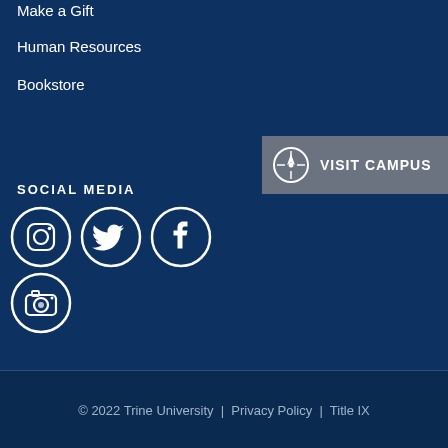Make a Gift
Human Resources
Bookstore
[Figure (infographic): Visit Campus button with compass icon and gray background]
SOCIAL MEDIA
[Figure (infographic): Social media icons: Instagram, Twitter, Facebook circles in row 1, Camera/Snapchat circle in row 2]
© 2022 Trine University | Privacy Policy | Title IX